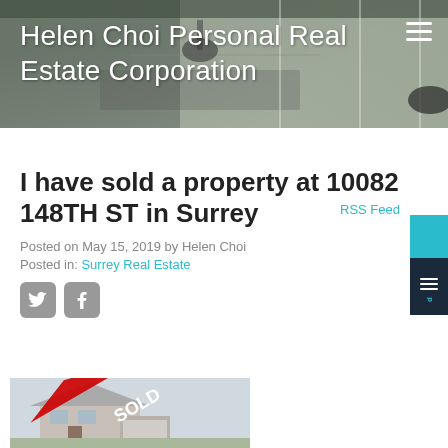Helen Choi Personal Real Estate Corporation
RSS Feed
I have sold a property at 10082 148TH ST in Surrey
Posted on May 15, 2019 by Helen Choi
Posted in: Surrey Real Estate
[Figure (photo): Social sharing icons for Twitter and Facebook]
[Figure (photo): Property listing photo with red SOLD diagonal ribbon overlay]